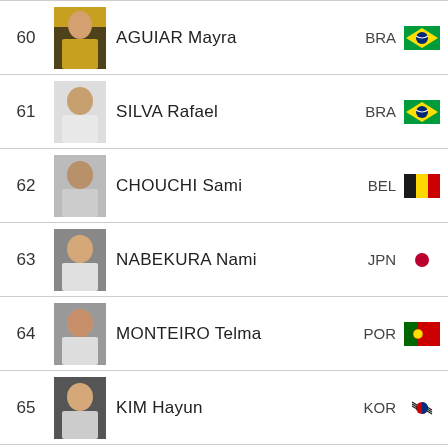60 AGUIAR Mayra BRA
61 SILVA Rafael BRA
62 CHOUCHI Sami BEL
63 NABEKURA Nami JPN
64 MONTEIRO Telma POR
65 KIM Hayun KOR
Cookies
IJF.org is using cookies. By accepting these cookies be set. Check more information here.